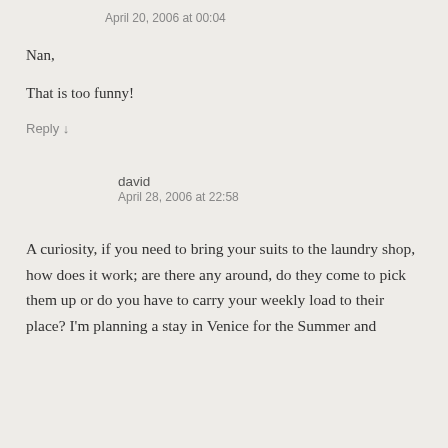Yvonne
April 20, 2006 at 00:04
Nan,
That is too funny!
Reply ↓
david
April 28, 2006 at 22:58
A curiosity, if you need to bring your suits to the laundry shop, how does it work; are there any around, do they come to pick them up or do you have to carry your weekly load to their place? I'm planning a stay in Venice for the Summer and